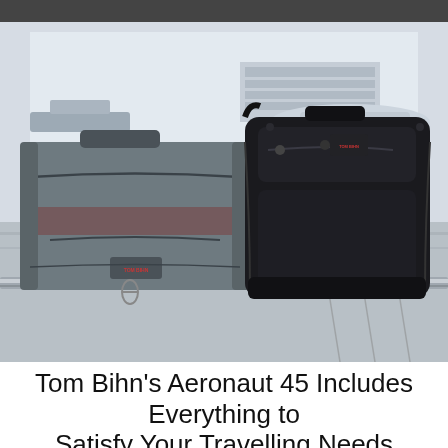[Figure (photo): Two Tom Bihn bags — a grey duffel/messenger bag on the left and a black backpack on the right — sitting on a metal rail at an airport, with an airport tarmac, planes, and terminal building visible through large windows in the background.]
Tom Bihn's Aeronaut 45 Includes Everything to Satisfy Your Travelling Needs